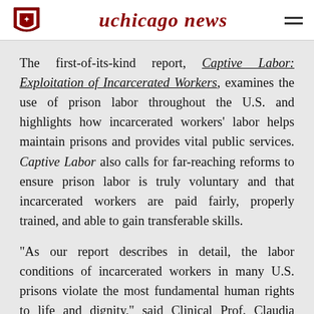uchicago news
The first-of-its-kind report, Captive Labor: Exploitation of Incarcerated Workers, examines the use of prison labor throughout the U.S. and highlights how incarcerated workers' labor helps maintain prisons and provides vital public services. Captive Labor also calls for far-reaching reforms to ensure prison labor is truly voluntary and that incarcerated workers are paid fairly, properly trained, and able to gain transferable skills.
“As our report describes in detail, the labor conditions of incarcerated workers in many U.S. prisons violate the most fundamental human rights to life and dignity,” said Clinical Prof. Claudia Flores, the director of the Global Human Rights